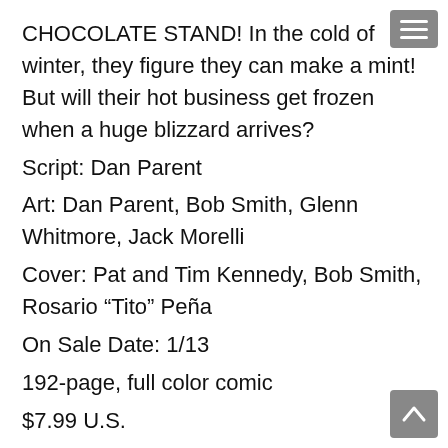CHOCOLATE STAND! In the cold of winter, they figure they can make a mint! But will their hot business get frozen when a huge blizzard arrives?
Script: Dan Parent
Art: Dan Parent, Bob Smith, Glenn Whitmore, Jack Morelli
Cover: Pat and Tim Kennedy, Bob Smith, Rosario "Tito" Peña
On Sale Date: 1/13
192-page, full color comic
$7.99 U.S.
ARCHIE MODERN CLASSICS VOL. 3 (TR)
After 80 years of humorous tales, the Riverdale gang are still going strong! Archie is proud to present the best stories from 2020 – collected for the first time